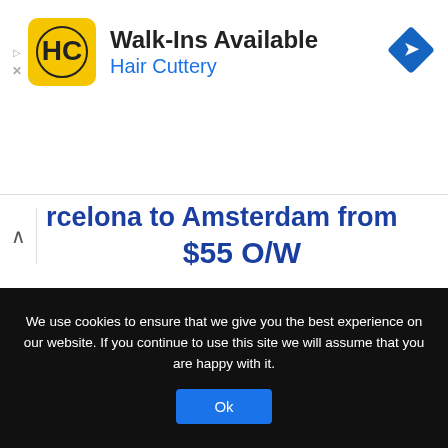[Figure (screenshot): Hair Cuttery advertisement banner with logo, 'Walk-Ins Available' text, and blue navigation icon]
rcelona to Amsterdam from $55 O/W
Departure: June 6, 2018
AIRLINE:
Vueling
Get The Deal | PRICELINE | FLIGHTHUB
We use cookies to ensure that we give you the best experience on our website. If you continue to use this site we will assume that you are happy with it.